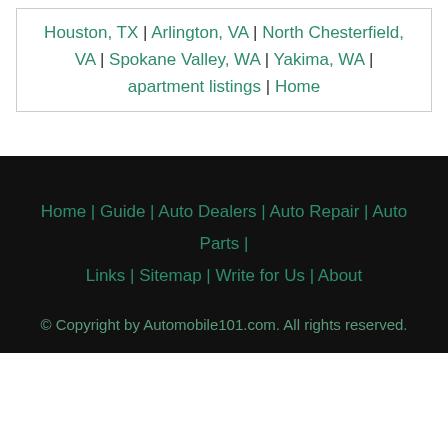Houston, TX | Arlington, VA | North Chesterfield, VA | Spokane Valley, WA | Yakima, WA | apartment listings | Home
Home | Guide | Auto Dealers | Auto Repair | Auto Parts | Links | Sitemap | Write for Us | About
© Copyright by Automobile101.com. All rights reserved.